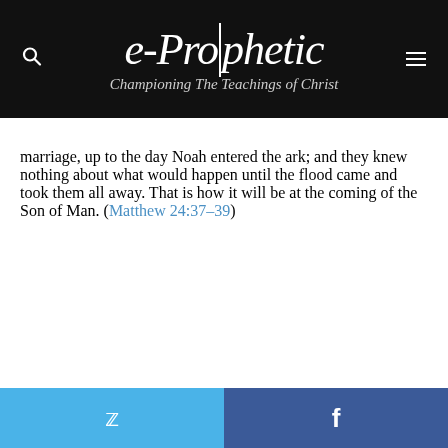e-Prophetic | Championing The Teachings of Christ
marriage, up to the day Noah entered the ark; and they knew nothing about what would happen until the flood came and took them all away. That is how it will be at the coming of the Son of Man. (Matthew 24:37-39)
Twitter | Facebook